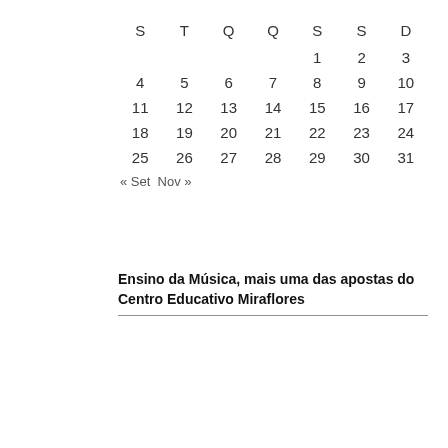| S | T | Q | Q | S | S | D |
| --- | --- | --- | --- | --- | --- | --- |
|  |  |  |  | 1 | 2 | 3 |
| 4 | 5 | 6 | 7 | 8 | 9 | 10 |
| 11 | 12 | 13 | 14 | 15 | 16 | 17 |
| 18 | 19 | 20 | 21 | 22 | 23 | 24 |
| 25 | 26 | 27 | 28 | 29 | 30 | 31 |
« Set  Nov »
Ensino da Música, mais uma das apostas do Centro Educativo Miraflores